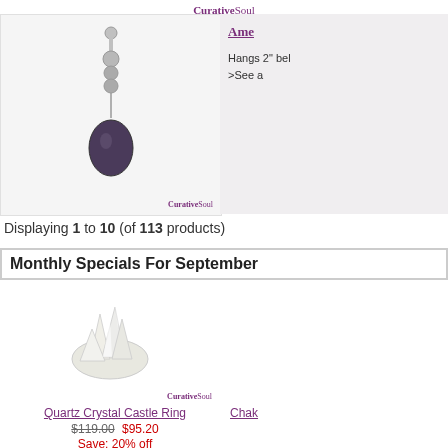CurativeSoul
[Figure (photo): Amethyst belly button ring / body jewelry hanging pendant with silver beads and raw amethyst stone, displayed on white background with CurativeSoul watermark]
Ame... Hangs 2" bel... >See a...
Displaying 1 to 10 (of 113 products)
Monthly Specials For September
[Figure (photo): Quartz Crystal Castle Ring - white quartz crystal cluster ring on white background with CurativeSoul watermark]
Quartz Crystal Castle Ring $119.00 $95.20 Save: 20% off
Chak...